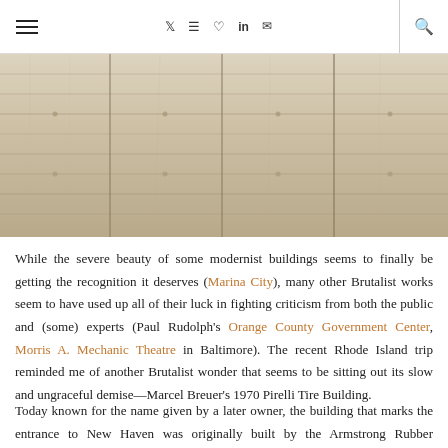≡  Twitter Instagram Pinterest LinkedIn Email  🔍
[Figure (photo): Close-up photograph of weathered wood plank panels arranged in a grid pattern, showing horizontal boards with a pale, bleached wood texture divided by vertical seams into four sections.]
While the severe beauty of some modernist buildings seems to finally be getting the recognition it deserves (Marina City), many other Brutalist works seem to have used up all of their luck in fighting criticism from both the public and (some) experts (Paul Rudolph's Orange County Government Center, Morris A. Mechanic Theatre in Baltimore). The recent Rhode Island trip reminded me of another Brutalist wonder that seems to be sitting out its slow and ungraceful demise—Marcel Breuer's 1970 Pirelli Tire Building.
Today known for the name given by a later owner, the building that marks the entrance to New Haven was originally built by the Armstrong Rubber Company—a